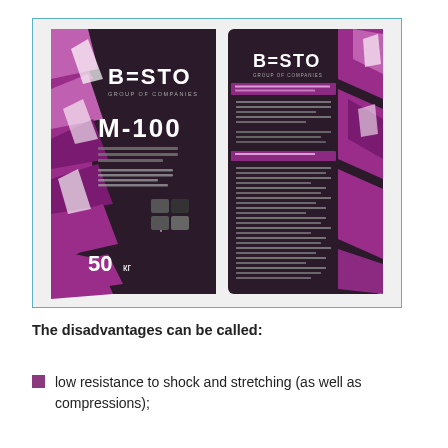[Figure (photo): Two bags of BESTO GROUP OF COMPANIES M-100 cement-lime plaster, 50 kg each. Left bag shows front side with purple geometric pattern and dark background with product name M-100. Right bag shows back side with product information text in Russian.]
The disadvantages can be called:
low resistance to shock and stretching (as well as compressions);